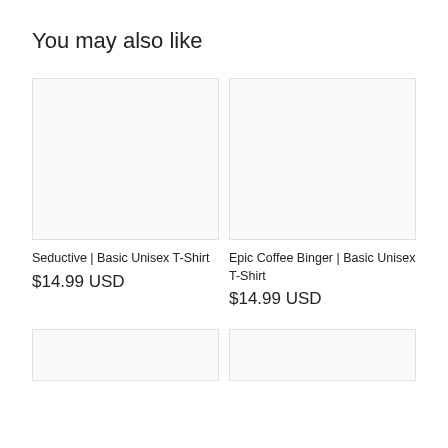You may also like
[Figure (photo): Empty white product image box for Seductive | Basic Unisex T-Shirt]
Seductive | Basic Unisex T-Shirt
$14.99 USD
[Figure (photo): Empty white product image box for Epic Coffee Binger | Basic Unisex T-Shirt]
Epic Coffee Binger | Basic Unisex T-Shirt
$14.99 USD
[Figure (photo): Empty white product image box (bottom left)]
[Figure (photo): Empty white product image box (bottom right)]